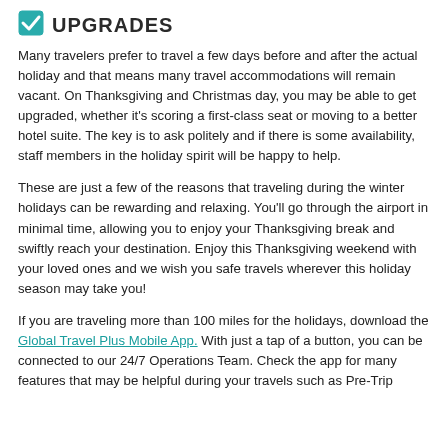UPGRADES
Many travelers prefer to travel a few days before and after the actual holiday and that means many travel accommodations will remain vacant. On Thanksgiving and Christmas day, you may be able to get upgraded, whether it's scoring a first-class seat or moving to a better hotel suite. The key is to ask politely and if there is some availability, staff members in the holiday spirit will be happy to help.
These are just a few of the reasons that traveling during the winter holidays can be rewarding and relaxing. You'll go through the airport in minimal time, allowing you to enjoy your Thanksgiving break and swiftly reach your destination. Enjoy this Thanksgiving weekend with your loved ones and we wish you safe travels wherever this holiday season may take you!
If you are traveling more than 100 miles for the holidays, download the Global Travel Plus Mobile App. With just a tap of a button, you can be connected to our 24/7 Operations Team. Check the app for many features that may be helpful during your travels such as Pre-Trip